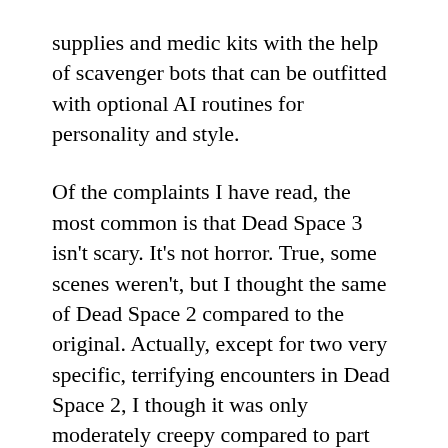supplies and medic kits with the help of scavenger bots that can be outfitted with optional AI routines for personality and style.
Of the complaints I have read, the most common is that Dead Space 3 isn't scary. It's not horror. True, some scenes weren't, but I thought the same of Dead Space 2 compared to the original. Actually, except for two very specific, terrifying encounters in Dead Space 2, I though it was only moderately creepy compared to part one. Dead Space 3 in turn finds new ways to get your blood pumping, relying less on monster pops in the dark to create fright and suspense. From a race against freezing temperatures in a blinding snow